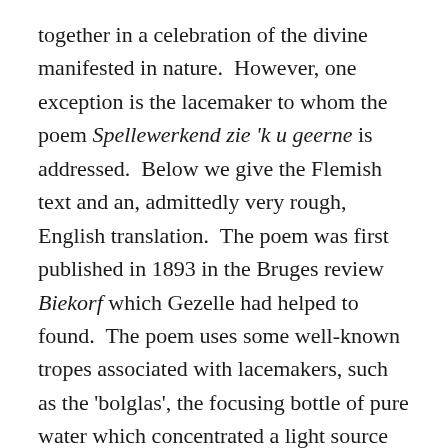together in a celebration of the divine manifested in nature.  However, one exception is the lacemaker to whom the poem Spellewerkend zie 'k u geerne is addressed.  Below we give the Flemish text and an, admittedly very rough, English translation.  The poem was first published in 1893 in the Bruges review Biekorf which Gezelle had helped to found.  The poem uses some well-known tropes associated with lacemakers, such as the 'bolglas', the focusing bottle of pure water which concentrated a light source onto the pillow, which we have already encountered in the poetry of John Askham.  However, he avoided one stereotype, for his lacemaker is not old but clearly a young woman or girl.  So strong has the expectation become that a lacemaker should be old that when Bruges Municipal